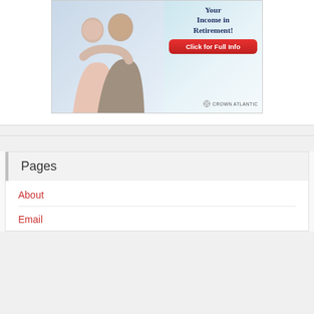[Figure (illustration): Advertisement banner showing a smiling couple (woman hugging man from behind), with text 'Your Income in Retirement!', a red 'Click for Full Info' button, and the Crown Atlantic logo at the bottom right.]
Pages
About
Email